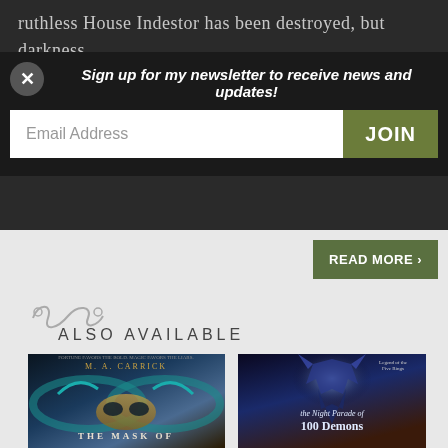ruthless House Indestor has been destroyed, but darkness still weaves through the city's filthy back alleys and jewel-bright palaces.
Sign up for my newsletter to receive news and updates!
Email Address
JOIN
READ MORE >
[Figure (illustration): Decorative scroll/flourish divider]
ALSO AVAILABLE
[Figure (photo): Book cover: The Mask of... by M. A. Carrick - features an ornate blue and gold masquerade mask with wings against a dark background]
[Figure (photo): Book cover: The Night Parade of 100 Demons - features a dark blue demonic armored figure with glowing light, Legend of the Five Rings branding]